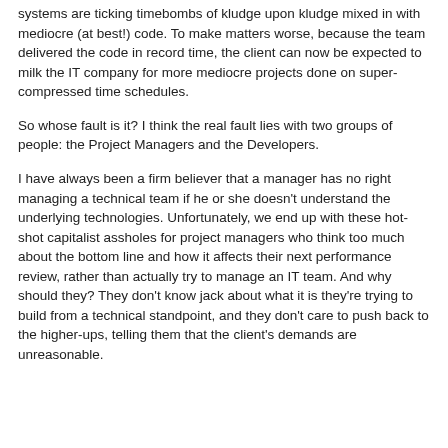systems are ticking timebombs of kludge upon kludge mixed in with mediocre (at best!) code. To make matters worse, because the team delivered the code in record time, the client can now be expected to milk the IT company for more mediocre projects done on super-compressed time schedules.
So whose fault is it? I think the real fault lies with two groups of people: the Project Managers and the Developers.
I have always been a firm believer that a manager has no right managing a technical team if he or she doesn't understand the underlying technologies. Unfortunately, we end up with these hot-shot capitalist assholes for project managers who think too much about the bottom line and how it affects their next performance review, rather than actually try to manage an IT team. And why should they? They don't know jack about what it is they're trying to build from a technical standpoint, and they don't care to push back to the higher-ups, telling them that the client's demands are unreasonable.